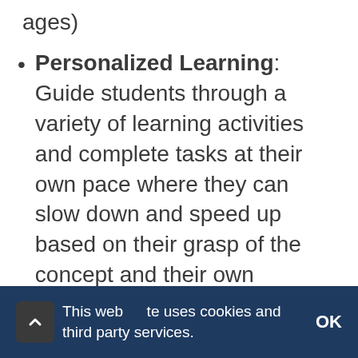ages)
Personalized Learning: Guide students through a variety of learning activities and complete tasks at their own pace where they can slow down and speed up based on their grasp of the concept and their own context.
Curate videos, articles, practice activities for learners to engage and go deeper on a specific skill,
This website uses cookies and third party services.